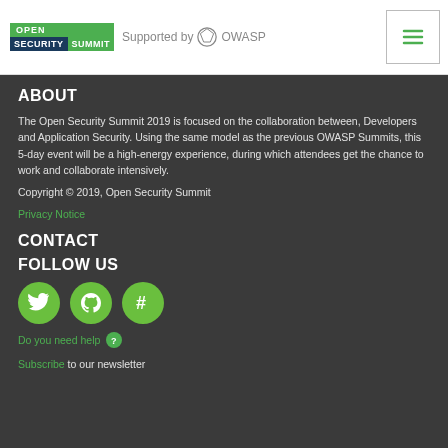[Figure (logo): Open Security Summit logo with 'Supported by OWASP' text and OWASP icon, plus hamburger menu button]
ABOUT
The Open Security Summit 2019 is focused on the collaboration between, Developers and Application Security. Using the same model as the previous OWASP Summits, this 5-day event will be a high-energy experience, during which attendees get the chance to work and collaborate intensively.
Copyright © 2019, Open Security Summit
Privacy Notice
CONTACT
FOLLOW US
[Figure (illustration): Three green circular social media icons: Twitter bird, GitHub octocat, and a hashtag/Freenode symbol]
Do you need help ?
Subscribe to our newsletter